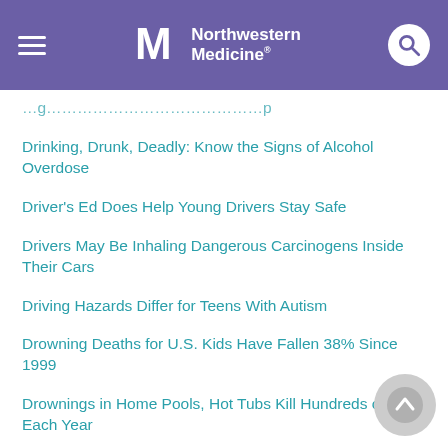Northwestern Medicine
Drinking, Drunk, Deadly: Know the Signs of Alcohol Overdose
Driver's Ed Does Help Young Drivers Stay Safe
Drivers May Be Inhaling Dangerous Carcinogens Inside Their Cars
Driving Hazards Differ for Teens With Autism
Drowning Deaths for U.S. Kids Have Fallen 38% Since 1999
Drownings in Home Pools, Hot Tubs Kill Hundreds of Kids Each Year
Drug Combo May Be Safe, Effective Therapy for Rare Leukemia
Drug Long Used for Alcoholism Might Fight